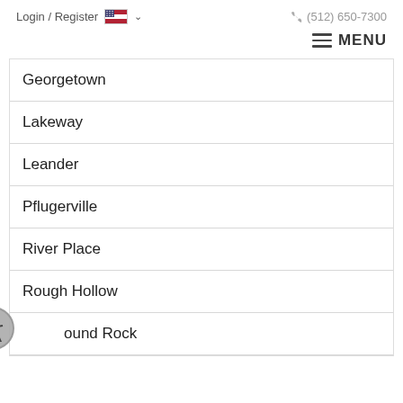Login / Register  (512) 650-7300
MENU
Georgetown
Lakeway
Leander
Pflugerville
River Place
Rough Hollow
Round Rock